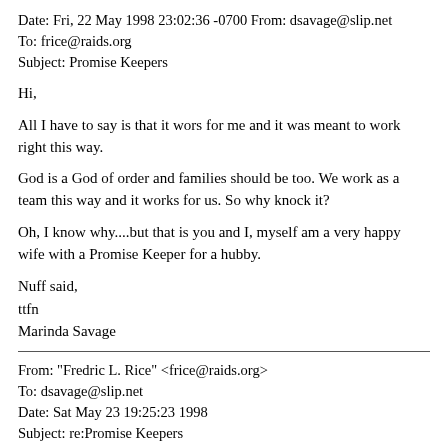Date: Fri, 22 May 1998 23:02:36 -0700 From: dsavage@slip.net
To: frice@raids.org
Subject: Promise Keepers
Hi,
All I have to say is that it wors for me and it was meant to work right this way.
God is a God of order and families should be too. We work as a team this way and it works for us. So why knock it?
Oh, I know why....but that is you and I, myself am a very happy wife with a Promise Keeper for a hubby.
Nuff said,
ttfn
Marinda Savage
From: "Fredric L. Rice" <frice@raids.org>
To: dsavage@slip.net
Date: Sat May 23 19:25:23 1998
Subject: re:Promise Keepers
At 23:02 5/22/98 -0700, dsavage@slip.net wrote: >Hi,